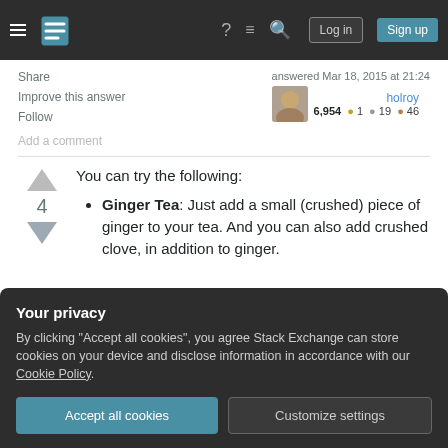Stack Exchange navigation header with Log in and Sign up buttons
Share
Improve this answer
Follow
Add a comment
answered Mar 18, 2015 at 21:24
holroy
6,954 ●1 ●19 ●46
You can try the following:
Ginger Tea: Just add a small (crushed) piece of ginger to your tea. And you can also add crushed clove, in addition to ginger.
Your privacy
By clicking "Accept all cookies", you agree Stack Exchange can store cookies on your device and disclose information in accordance with our Cookie Policy.
Accept all cookies
Customize settings